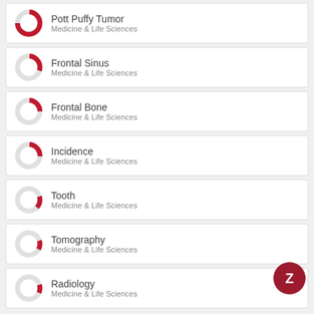Pott Puffy Tumor — Medicine & Life Sciences
Frontal Sinus — Medicine & Life Sciences
Frontal Bone — Medicine & Life Sciences
Incidence — Medicine & Life Sciences
Tooth — Medicine & Life Sciences
Tomography — Medicine & Life Sciences
Radiology — Medicine & Life Sciences